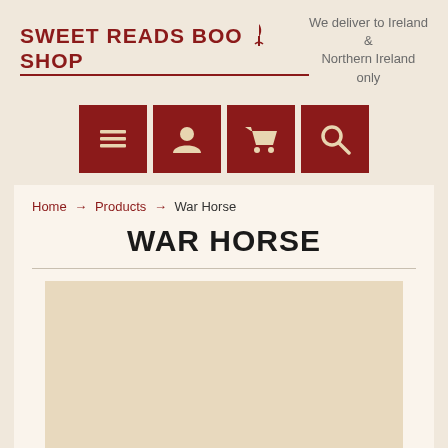SWEET READS BOOKSHOP
We deliver to Ireland & Northern Ireland only
[Figure (infographic): Four dark red navigation icon buttons: hamburger menu, user/account, shopping cart, and search/magnifying glass]
Home → Products → War Horse
WAR HORSE
[Figure (photo): Placeholder/loading area for War Horse book cover image, shown as a beige/cream rectangle]